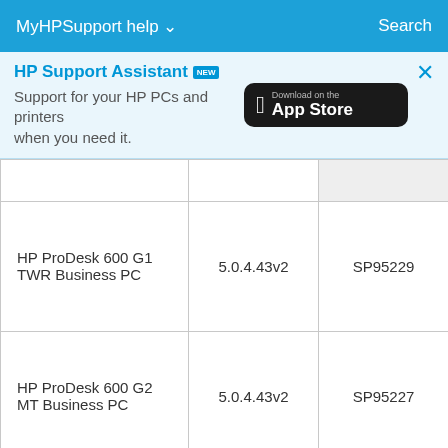MyHPSupport help ∨   Search
HP Support Assistant NEW
Support for your HP PCs and printers when you need it.
[Figure (screenshot): Download on the App Store badge]
|  |  |  |
| --- | --- | --- |
|  |  |  |
| HP ProDesk 600 G1 TWR Business PC | 5.0.4.43v2 | SP95229 |
| HP ProDesk 600 G2 MT Business PC | 5.0.4.43v2 | SP95227 |
| HP ProDesk 600 G2... |  |  |